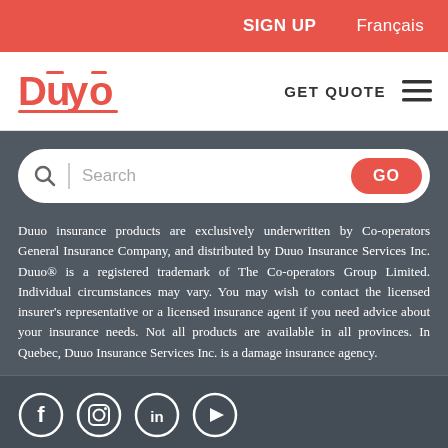SIGN UP   Français
[Figure (logo): Duuo logo in red with macron accents over the letters]
GET QUOTE ☰
[Figure (screenshot): Search bar with magnifying glass icon, placeholder text 'Search', and red GO button]
Duuo insurance products are exclusively underwritten by Co-operators General Insurance Company, and distributed by Duuo Insurance Services Inc. Duuo® is a registered trademark of The Co-operators Group Limited. Individual circumstances may vary. You may wish to contact the licensed insurer's representative or a licensed insurance agent if you need advice about your insurance needs. Not all products are available in all provinces. In Quebec, Duuo Insurance Services Inc. is a damage insurance agency.
[Figure (infographic): Social media icons: Facebook, Instagram, LinkedIn, YouTube — white circles on dark background]
Terms of Use   Privacy Policy   RIBO/CISRO